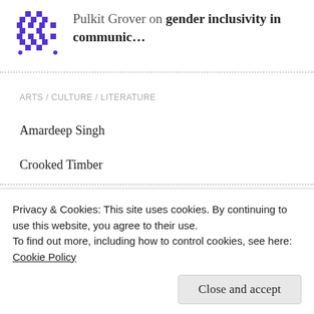Pulkit Grover on gender inclusivity in communic…
ARTS / CULTURE / LITERATURE
Amardeep Singh
Crooked Timber
BLOGROLL
The Information Structuralist
Privacy & Cookies: This site uses cookies. By continuing to use this website, you agree to their use.
To find out more, including how to control cookies, see here: Cookie Policy
Close and accept